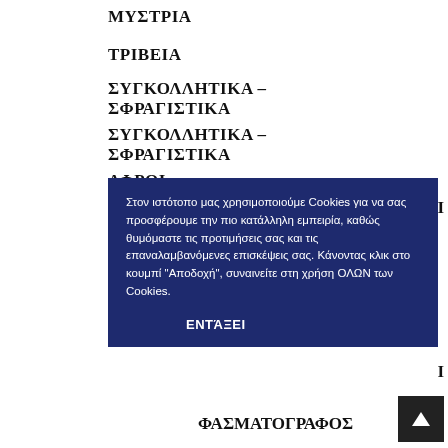ΜΥΣΤΡΙΑ
ΤΡΙΒΕΙΑ
ΣΥΓΚΟΛΛΗΤΙΚΑ – ΣΦΡΑΓΙΣΤΙΚΑ
ΣΥΓΚΟΛΛΗΤΙΚΑ – ΣΦΡΑΓΙΣΤΙΚΑ
ΑΦΡΟΙ
Στον ιστότοπο μας χρησιμοποιούμε Cookies για να σας προσφέρουμε την πιο κατάλληλη εμπειρία, καθώς θυμόμαστε τις προτιμήσεις σας και τις επαναλαμβανόμενες επισκέψεις σας. Κάνοντας κλικ στο κουμπί "Αποδοχή", συναινείτε στη χρήση ΟΛΩΝ των Cookies.
ΕΝΤΆΞΕΙ
ΦΑΣΜΑΤΟΓΡΑΦΟΣ